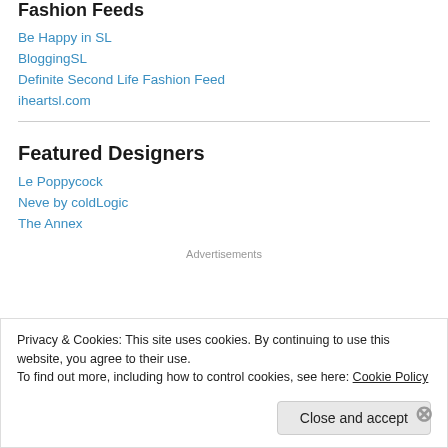Fashion Feeds
Be Happy in SL
BloggingSL
Definite Second Life Fashion Feed
iheartsl.com
Featured Designers
Le Poppycock
Neve by coldLogic
The Annex
Advertisements
Privacy & Cookies: This site uses cookies. By continuing to use this website, you agree to their use.
To find out more, including how to control cookies, see here: Cookie Policy
Close and accept